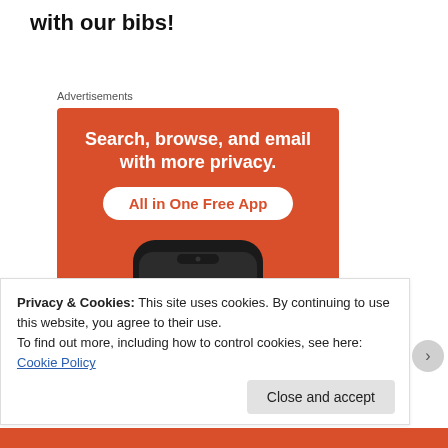with our bibs!
Advertisements
[Figure (screenshot): DuckDuckGo advertisement: orange background with white bold text 'Search, browse, and email with more privacy.' and a white pill button with red text 'All in One Free App', below is a dark smartphone showing the DuckDuckGo duck logo.]
Privacy & Cookies: This site uses cookies. By continuing to use this website, you agree to their use.
To find out more, including how to control cookies, see here: Cookie Policy
Close and accept